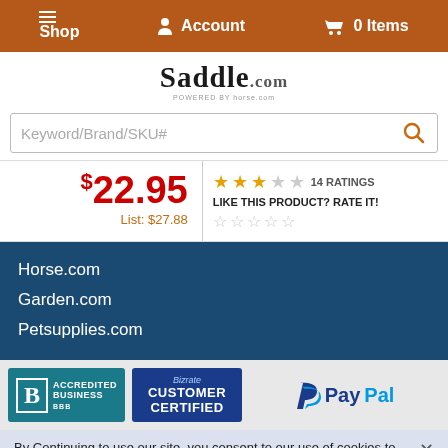Shop  Account  0 Items
Saddle.com
Keyword/Brand/SKU#
$22.95  List: $27.88  ★★★☆☆  14 RATINGS  LIKE THIS PRODUCT? RATE IT!
Horse.com
Garden.com
Petsupplies.com
[Figure (logo): BBB Accredited Business badge]
[Figure (logo): Bizrate Customer Certified badge]
[Figure (logo): PayPal logo]
By Continuing to use our site, you consent to our use of cookies to improve your experience. Learn more
- 1 + Add to Cart